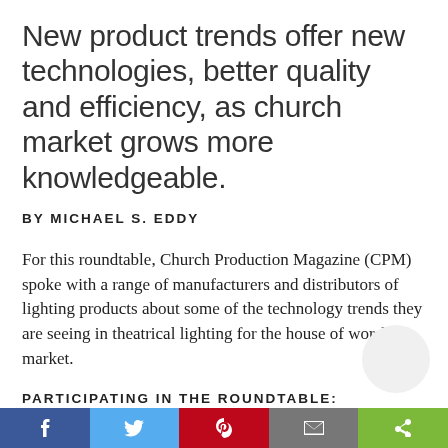New product trends offer new technologies, better quality and efficiency, as church market grows more knowledgeable.
BY MICHAEL S. EDDY
For this roundtable, Church Production Magazine (CPM) spoke with a range of manufacturers and distributors of lighting products about some of the technology trends they are seeing in theatrical lighting for the house of worship market.
PARTICIPATING IN THE ROUNDTABLE: